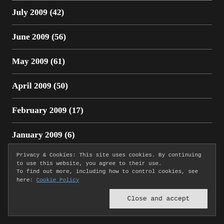July 2009 (42)
June 2009 (56)
May 2009 (61)
April 2009 (50)
February 2009 (17)
January 2009 (6)
Privacy & Cookies: This site uses cookies. By continuing to use this website, you agree to their use.
To find out more, including how to control cookies, see here: Cookie Policy
Close and accept